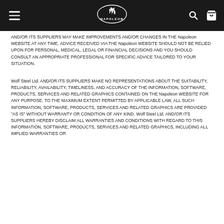Napoleon logo with navigation menu, search, and cart icons
AND/OR ITS SUPPLIERS MAY MAKE IMPROVEMENTS AND/OR CHANGES IN THE Napoleon WEBSITE AT ANY TIME. ADVICE RECEIVED VIA THE Napoleon WEBSITE SHOULD NOT BE RELIED UPON FOR PERSONAL, MEDICAL, LEGAL OR FINANCIAL DECISIONS AND YOU SHOULD CONSULT AN APPROPRIATE PROFESSIONAL FOR SPECIFIC ADVICE TAILORED TO YOUR SITUATION.
Wolf Steel Ltd. AND/OR ITS SUPPLIERS MAKE NO REPRESENTATIONS ABOUT THE SUITABILITY, RELIABILITY, AVAILABILITY, TIMELINESS, AND ACCURACY OF THE INFORMATION, SOFTWARE, PRODUCTS, SERVICES AND RELATED GRAPHICS CONTAINED ON THE Napoleon WEBSITE FOR ANY PURPOSE. TO THE MAXIMUM EXTENT PERMITTED BY APPLICABLE LAW, ALL SUCH INFORMATION, SOFTWARE, PRODUCTS, SERVICES AND RELATED GRAPHICS ARE PROVIDED "AS IS" WITHOUT WARRANTY OR CONDITION OF ANY KIND. Wolf Steel Ltd. AND/OR ITS SUPPLIERS HEREBY DISCLAIM ALL WARRANTIES AND CONDITIONS WITH REGARD TO THIS INFORMATION, SOFTWARE, PRODUCTS, SERVICES AND RELATED GRAPHICS, INCLUDING ALL IMPLIED WARRANTIES OR